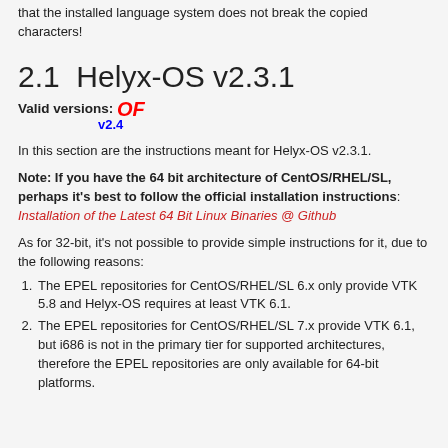So make sure you can read the characters properly or that the installed language system does not break the copied characters!
2.1  Helyx-OS v2.3.1
Valid versions: OF v2.4
In this section are the instructions meant for Helyx-OS v2.3.1.
Note: If you have the 64bit architecture of CentOS/RHEL/SL, perhaps it's best to follow the official installation instructions: Installation of the Latest 64 Bit Linux Binaries @ Github
As for 32-bit, it's not possible to provide simple instructions for it, due to the following reasons:
The EPEL repositories for CentOS/RHEL/SL 6.x only provide VTK 5.8 and Helyx-OS requires at least VTK 6.1.
The EPEL repositories for CentOS/RHEL/SL 7.x provide VTK 6.1, but i686 is not in the primary tier for supported architectures, therefore the EPEL repositories are only available for 64-bit platforms.